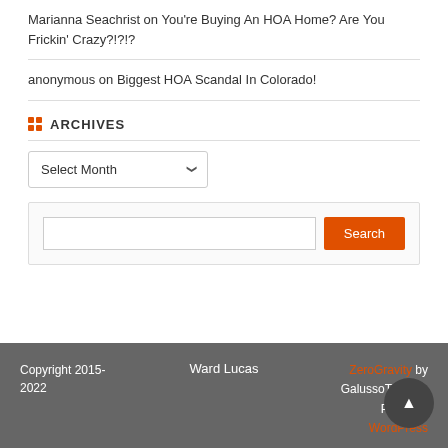Marianna Seachrist on You're Buying An HOA Home? Are You Frickin' Crazy?!?!?
anonymous on Biggest HOA Scandal In Colorado!
ARCHIVES
Select Month (dropdown)
Search box with Search button
Copyright 2015-2022   Ward Lucas   ZeroGravity by GalussoThemes Powered by WordPress